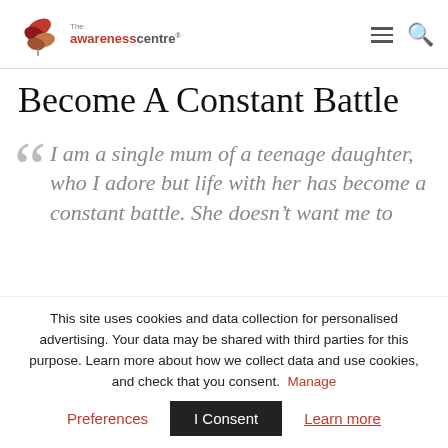The Awareness Centre [logo] [menu icon] [search icon]
Become A Constant Battle
“ I am a single mum of a teenage daughter, who I adore but life with her has become a constant battle. She doesn’t want me to
This site uses cookies and data collection for personalised advertising. Your data may be shared with third parties for this purpose. Learn more about how we collect data and use cookies, and check that you consent. Manage Preferences I Consent Learn more